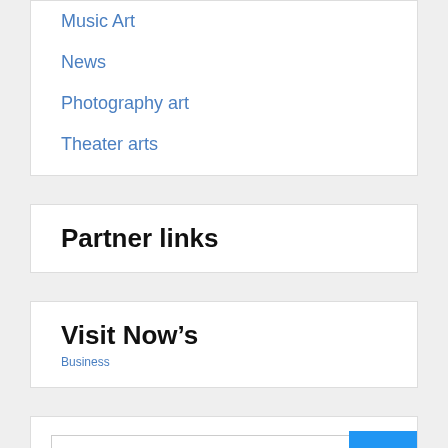Music Art
News
Photography art
Theater arts
Partner links
Visit Now’s
Business